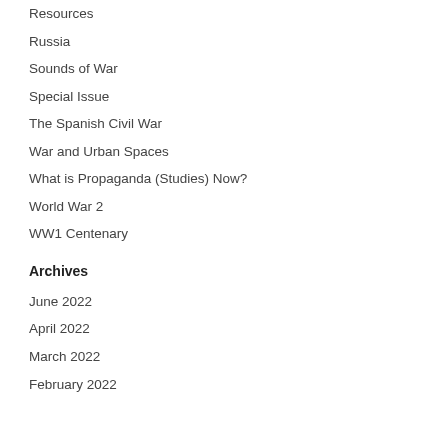Resources
Russia
Sounds of War
Special Issue
The Spanish Civil War
War and Urban Spaces
What is Propaganda (Studies) Now?
World War 2
WW1 Centenary
Archives
June 2022
April 2022
March 2022
February 2022